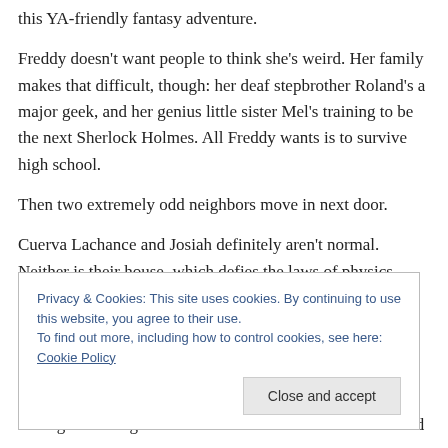this YA-friendly fantasy adventure.
Freddy doesn't want people to think she's weird. Her family makes that difficult, though: her deaf stepbrother Roland's a major geek, and her genius little sister Mel's training to be the next Sherlock Holmes. All Freddy wants is to survive high school.
Then two extremely odd neighbors move in next door.
Cuerva Lachance and Josiah definitely aren't normal. Neither is their house, which defies the laws of physics.
Privacy & Cookies: This site uses cookies. By continuing to use this website, you agree to their use.
To find out more, including how to control cookies, see here: Cookie Policy
reeling with delight and I can't wait for the rest of the world